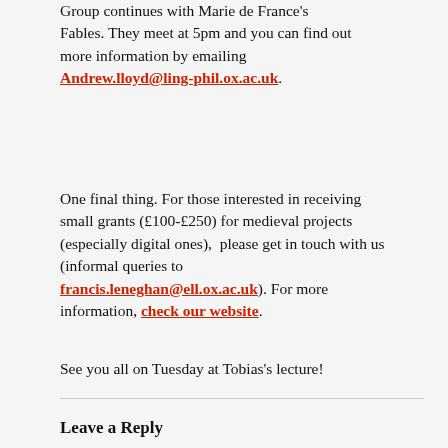Group continues with Marie de France's Fables. They meet at 5pm and you can find out more information by emailing Andrew.lloyd@ling-phil.ox.ac.uk.
One final thing. For those interested in receiving small grants (£100-£250) for medieval projects (especially digital ones),  please get in touch with us (informal queries to francis.leneghan@ell.ox.ac.uk). For more information, check our website.
See you all on Tuesday at Tobias’s lecture!
Leave a Reply